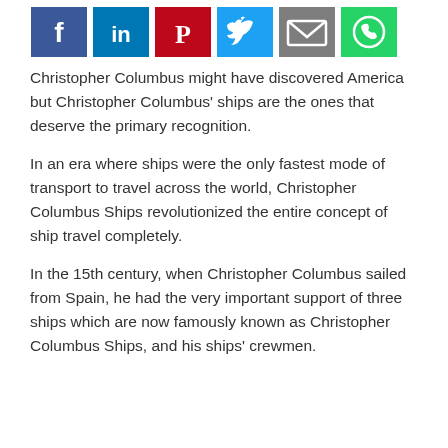[Figure (other): Social media sharing icons: Facebook (blue), LinkedIn (blue), Pinterest (red), Twitter (light blue), Email (gray), WhatsApp (green)]
Christopher Columbus might have discovered America but Christopher Columbus' ships are the ones that deserve the primary recognition.
In an era where ships were the only fastest mode of transport to travel across the world, Christopher Columbus Ships revolutionized the entire concept of ship travel completely.
In the 15th century, when Christopher Columbus sailed from Spain, he had the very important support of three ships which are now famously known as Christopher Columbus Ships, and his ships' crewmen.